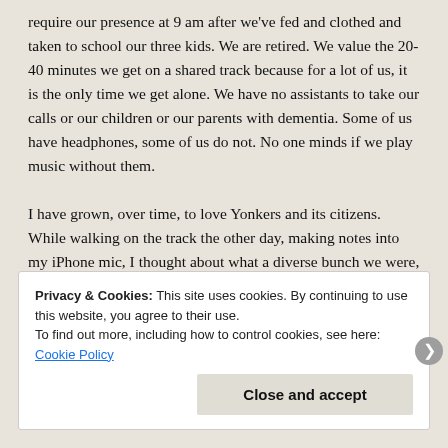require our presence at 9 am after we've fed and clothed and taken to school our three kids. We are retired. We value the 20-40 minutes we get on a shared track because for a lot of us, it is the only time we get alone. We have no assistants to take our calls or our children or our parents with dementia. Some of us have headphones, some of us do not. No one minds if we play music without them.
I have grown, over time, to love Yonkers and its citizens. While walking on the track the other day, making notes into my iPhone mic, I thought about what a diverse bunch we were, all here with a singleness of purpose. No fighting, minding our own business; staying in our own hula hoops, respecting each other's space. It's kind of like how America was supposed to work.
Privacy & Cookies: This site uses cookies. By continuing to use this website, you agree to their use. To find out more, including how to control cookies, see here: Cookie Policy